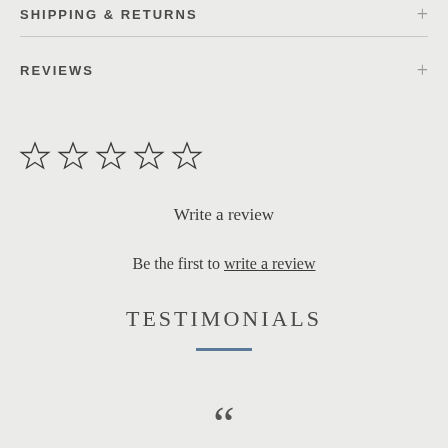SHIPPING & RETURNS
REVIEWS
[Figure (other): Five empty star rating icons in a row]
Write a review
Be the first to write a review
TESTIMONIALS
[Figure (other): Large opening quotation mark icon]